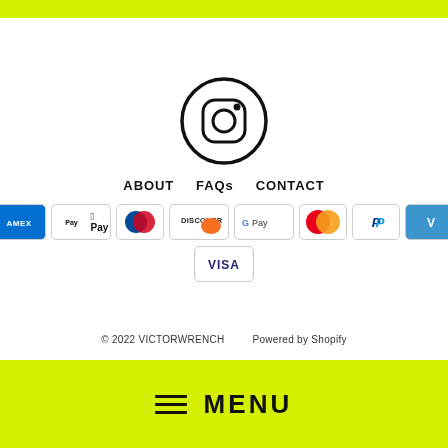[Figure (logo): Yellow-green top bar]
[Figure (logo): Instagram icon - circle with camera outline]
ABOUT   FAQs   CONTACT
[Figure (other): Payment method badges: AMEX, Apple Pay, Diners Club, Discover, Google Pay, Mastercard, PayPal, Venmo, Visa]
© 2022 VICTORWRENCH   Powered by Shopify
≡ MENU